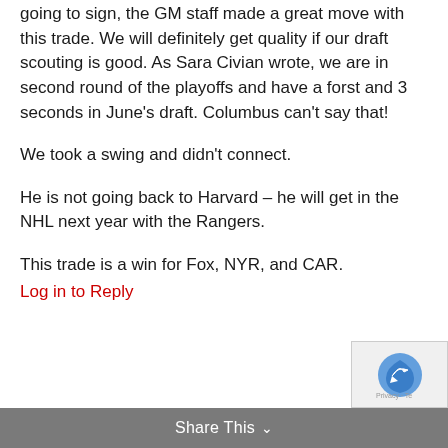going to sign, the GM staff made a great move with this trade. We will definitely get quality if our draft scouting is good. As Sara Civian wrote, we are in second round of the playoffs and have a forst and 3 seconds in June's draft. Columbus can't say that!
We took a swing and didn't connect.
He is not going back to Harvard – he will get in the NHL next year with the Rangers.
This trade is a win for Fox, NYR, and CAR.
Log in to Reply
Share This